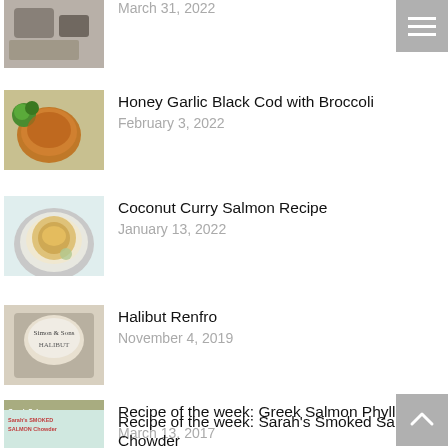[Figure (photo): Food photo - partial, top cut off]
March 31, 2022
[Figure (photo): Honey Garlic Black Cod with Broccoli dish photo]
Honey Garlic Black Cod with Broccoli
February 3, 2022
[Figure (photo): Coconut Curry Salmon in a bowl photo]
Coconut Curry Salmon Recipe
January 13, 2022
[Figure (photo): Halibut Renfro packaged product photo]
Halibut Renfro
November 4, 2019
[Figure (photo): Greek Salmon Phyllo Wrap food photo]
Recipe of the week: Greek Salmon Phyllo Wrap
March 13, 2017
[Figure (photo): Sarah's Smoked Salmon Chowder photo]
Recipe of the week: Sarah's Smoked Salmon Chowder